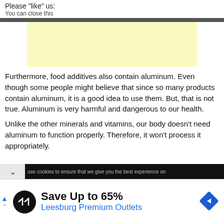Please "like" us:
You can close this
[Figure (other): Yellow advertisement banner placeholder box]
Furthermore, food additives also contain aluminum. Even though some people might believe that since so many products contain aluminum, it is a good idea to use them. But, that is not true. Aluminum is very harmful and dangerous to our health.
Unlike the other minerals and vitamins, our body doesn't need aluminum to function properly. Therefore, it won't process it appropriately.
use cookies to ensure that we give you the best experience on
[Figure (infographic): Bottom advertisement banner: black circular logo with double arrow, 'Save Up to 65%' headline, 'Leesburg Premium Outlets' subtitle in blue, blue navigation arrow icon on right]